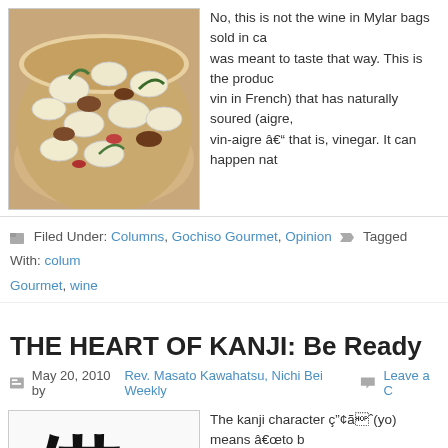[Figure (photo): Photo of a dish with large white beans, mixed vegetables, and herbs in a bowl]
No, this is not the wine in Mylar bags sold in ca... was meant to taste that way. This is the produc... vin in French) that has naturally soured (aigre,... vin-aigre â that is, vinegar. It can happen nat...
Filed Under: Columns, Gochiso Gourmet, Opinion  Tagged With: colum... Gourmet, wine
THE HEART OF KANJI: Be Ready
May 20, 2010 by Rev. Masato Kawahatsu, Nichi Bei Weekly  Leave a C...
[Figure (photo): Large black kanji character on white background]
The kanji character Ã§“Ã¤â¬(yo) means âto b... consists of two parts. A vertical center line repr... represent pieces of wood. The pieces of wood... nail.âÃ¦„â¬â¬(i) means âthinking in your hear... parts. Above is a personâs voice and below...